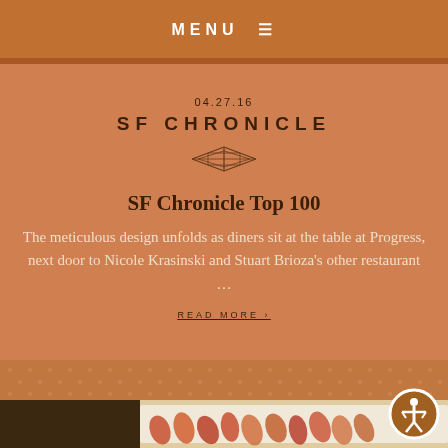MENU ≡
04.27.16
SF CHRONICLE
SF Chronicle Top 100
The meticulous design unfolds as diners sit at the table at Progress, next door to Nicole Krasinski and Stuart Brioza's other restaurant …
READ MORE ›
[Figure (photo): Food photo showing sliced fruit or vegetables on a plate, partially visible at bottom of page]